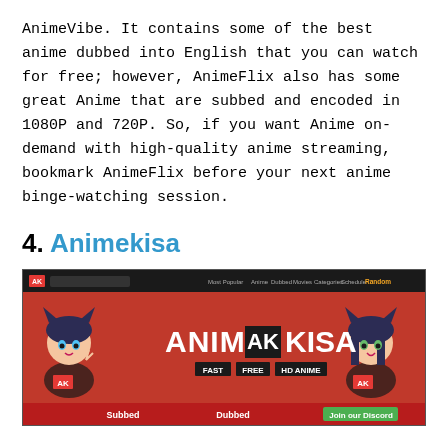AnimeVibe. It contains some of the best anime dubbed into English that you can watch for free; however, AnimeFlix also has some great Anime that are subbed and encoded in 1080P and 720P. So, if you want Anime on-demand with high-quality anime streaming, bookmark AnimeFlix before your next anime binge-watching session.
4. Animekisa
[Figure (screenshot): Screenshot of Animekisa website homepage showing red banner with 'ANIME AK KISA' logo, two anime girl characters on left and right, navigation bar at top, and 'FAST FREE HD ANIME' tags below the logo]